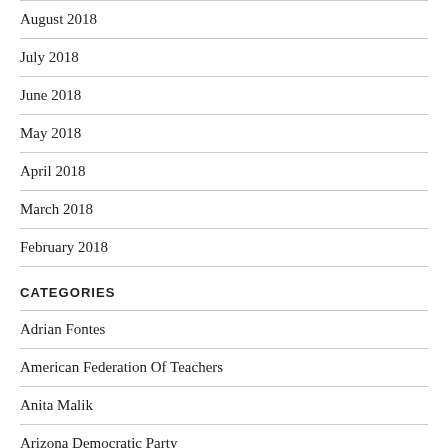August 2018
July 2018
June 2018
May 2018
April 2018
March 2018
February 2018
CATEGORIES
Adrian Fontes
American Federation Of Teachers
Anita Malik
Arizona Democratic Party
Arizona Education Association
Arizonans For Affordable Electricity